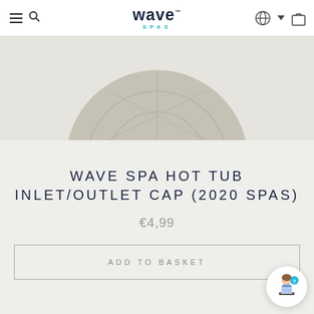Wave Spas — navigation header with hamburger menu, search, logo, language selector, and cart
[Figure (photo): Top-down partial view of a grey circular Wave Spa hot tub inlet/outlet cap against a light grey/beige background]
WAVE SPA HOT TUB INLET/OUTLET CAP (2020 SPAS)
€4,99
ADD TO BASKET
[Figure (illustration): Customer support chat widget — circular button with illustration of a person at a laptop with a question mark badge]